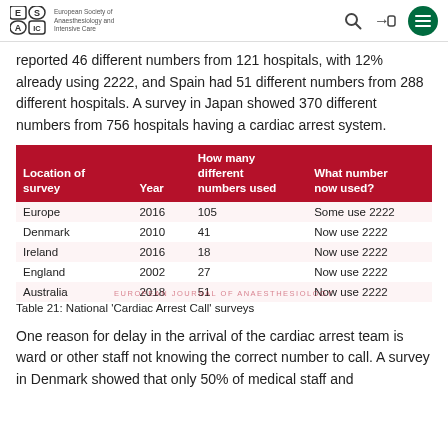European Society of Anaesthesiology and Intensive Care
reported 46 different numbers from 121 hospitals, with 12% already using 2222, and Spain had 51 different numbers from 288 different hospitals. A survey in Japan showed 370 different numbers from 756 hospitals having a cardiac arrest system.
| Location of survey | Year | How many different numbers used | What number now used? |
| --- | --- | --- | --- |
| Europe | 2016 | 105 | Some use 2222 |
| Denmark | 2010 | 41 | Now use 2222 |
| Ireland | 2016 | 18 | Now use 2222 |
| England | 2002 | 27 | Now use 2222 |
| Australia | 2018 | 51 | Now use 2222 |
Table 21: National 'Cardiac Arrest Call' surveys
One reason for delay in the arrival of the cardiac arrest team is ward or other staff not knowing the correct number to call. A survey in Denmark showed that only 50% of medical staff and